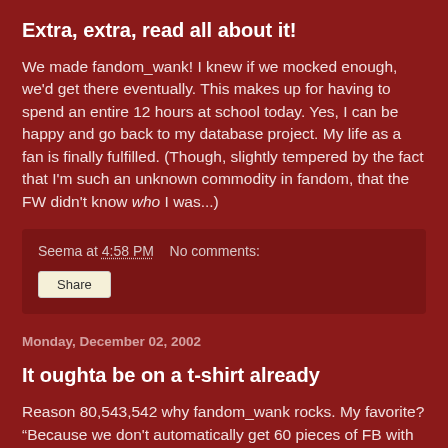Extra, extra, read all about it!
We made fandom_wank! I knew if we mocked enough, we'd get there eventually. This makes up for having to spend an entire 12 hours at school today. Yes, I can be happy and go back to my database project. My life as a fan is finally fulfilled. (Though, slightly tempered by the fact that I'm such an unknown commodity in fandom, that the FW didn't know who I was...)
Seema at 4:58 PM    No comments:
Share
Monday, December 02, 2002
It oughta be on a t-shirt already
Reason 80,543,542 why fandom_wank rocks. My favorite? "Because we don't automatically get 60 pieces of FB with our